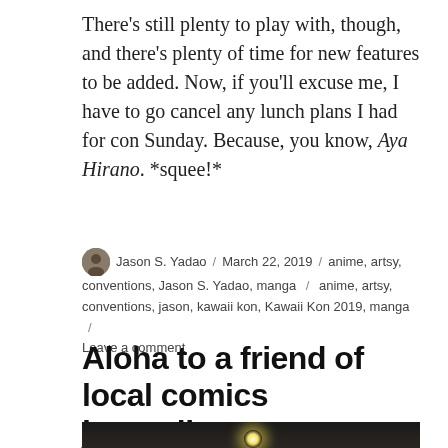There's still plenty to play with, though, and there's plenty of time for new features to be added. Now, if you'll excuse me, I have to go cancel any lunch plans I had for con Sunday. Because, you know, Aya Hirano. *squee!*
Jason S. Yadao / March 22, 2019 / anime, artsy, conventions, Jason S. Yadao, manga / anime, artsy, conventions, jason, kawaii kon, Kawaii Kon 2019, manga / Leave a comment
Aloha to a friend of local comics journalism
[Figure (photo): Dark photograph of what appears to be a vehicle or booth interior with a bright light spot and a red sign/box visible]